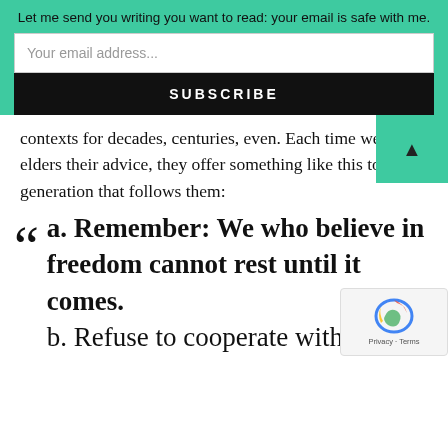Let me send you writing you want to read: your email is safe with me.
Your email address...
SUBSCRIBE
contexts for decades, centuries, even. Each time we ask elders their advice, they offer something like this to the generation that follows them:
a. Remember: We who believe in freedom cannot rest until it comes.
b. Refuse to cooperate with evil
Privacy · Terms